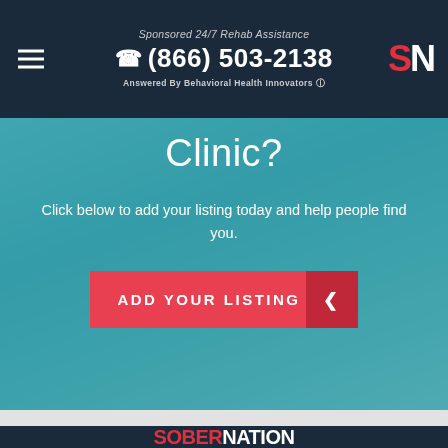Sponsored 24/7 Rehab Assistance
☎ (866) 503-2138
Answered By Behavioral Health Innovators
Clinic?
Click below to add your listing today and help people find you.
ADD YOUR LISTING
SOBERNATION